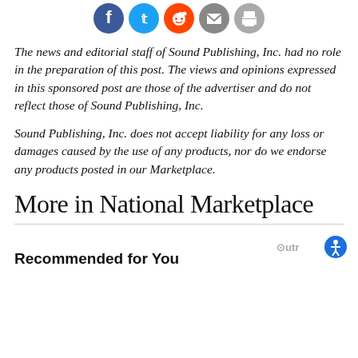[Figure (other): Row of social sharing icons: Facebook (blue), Twitter (blue), Reddit (orange), Email (grey), Print (grey)]
The news and editorial staff of Sound Publishing, Inc. had no role in the preparation of this post. The views and opinions expressed in this sponsored post are those of the advertiser and do not reflect those of Sound Publishing, Inc.
Sound Publishing, Inc. does not accept liability for any loss or damages caused by the use of any products, nor do we endorse any products posted in our Marketplace.
More in National Marketplace
Recommended for You